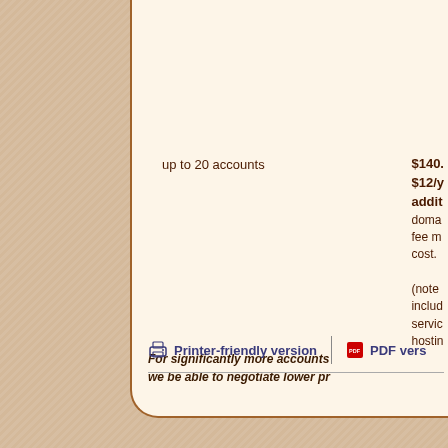fee cost.
(note be i servic hostin
up to 20 accounts
$140. $12/y addit domain fee m cost.
(note includ servic hostin
For significantly more accounts we be able to negotiate lower pr
Printer-friendly version
PDF vers